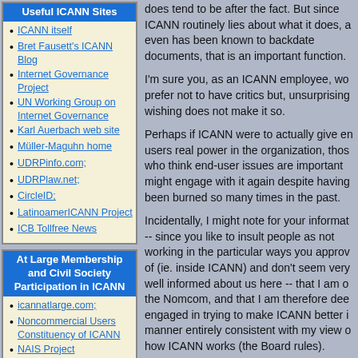Useful ICANN Sites
ICANN itself
Bret Fausett's ICANN Blog
Internet Governance Project
UN Working Group on Internet Governance
Karl Auerbach web site
Müller-Maguhn home
UDRPinfo.com;
UDRPlaw.net;
CircleID;
LatinoamerICANN Project
ICB Tollfree News
At Large Membership and Civil Society Participation in ICANN
icannatlarge.com;
Noncommercial Users Constituency of ICANN
NAIS Project
ICANN At Large Study Committee Final Report
ICANN (non)Members page
ICANN Membership
does tend to be after the fact. But since ICANN routinely lies about what it does, a even has been known to backdate documents, that is an important function.
I'm sure you, as an ICANN employee, wo prefer not to have critics but, unsurprising wishing does not make it so.
Perhaps if ICANN were to actually give en users real power in the organization, thos who think end-user issues are important might engage with it again despite having been burned so many times in the past.
Incidentally, I might note for your informat -- since you like to insult people as not working in the particular ways you approv of (ie. inside ICANN) and don't seem very well informed about us here -- that I am o the Nomcom, and that I am therefore dee engaged in trying to make ICANN better i manner entirely consistent with my view o how ICANN works (the Board rules).
In general, may I suggest that you re-think how you intend to engage your critics. Yo method of insulting and attacking them is